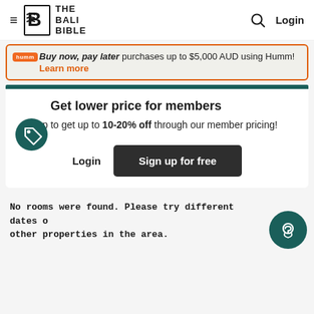THE BALI BIBLE — Login
purchases up to $5,000 AUD using Humm! Learn more
Get lower price for members
Signup to get up to 10-20% off through our member pricing!
Login   Sign up for free
No rooms were found. Please try different dates or other properties in the area.